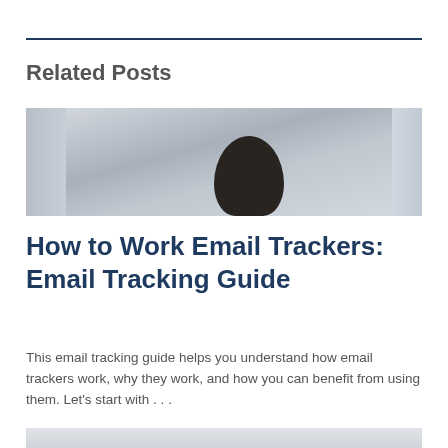Related Posts
[Figure (photo): Person viewed from behind, dark hair, near a window with curtains]
How to Work Email Trackers: Email Tracking Guide
This email tracking guide helps you understand how email trackers work, why they work, and how you can benefit from using them. Let's start with . . .
[Figure (photo): Partial view of a second related post image, person in a room]